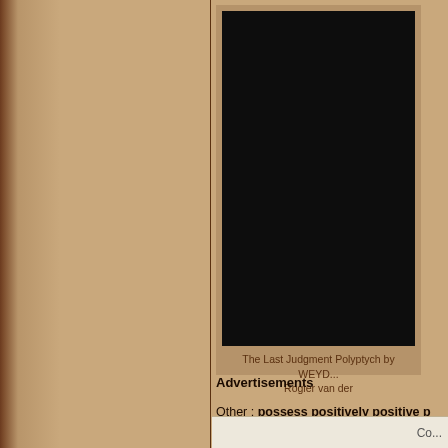[Figure (photo): Black square image placeholder representing an artwork thumbnail for The Last Judgment Polyptych]
The Last Judgment Polyptych by WEYD... Rogier van der
Advertisements
Other : possess positively positive p... portion portals port porcupines po...
All tags
|
Co...